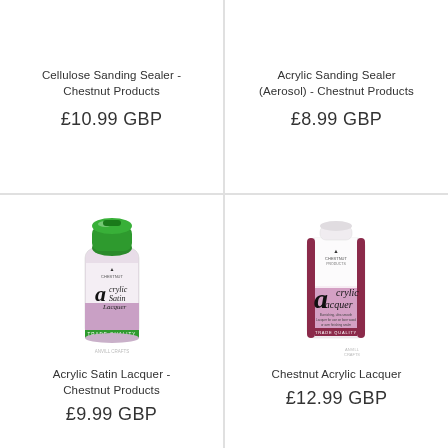Cellulose Sanding Sealer - Chestnut Products
£10.99 GBP
Acrylic Sanding Sealer (Aerosol) - Chestnut Products
£8.99 GBP
[Figure (photo): Chestnut Products Acrylic Satin Lacquer aerosol spray can with green cap and white/pink label]
Acrylic Satin Lacquer - Chestnut Products
£9.99 GBP
[Figure (photo): Chestnut Products Acrylic Lacquer bottle with white cap and white/pink/maroon label]
Chestnut Acrylic Lacquer
£12.99 GBP